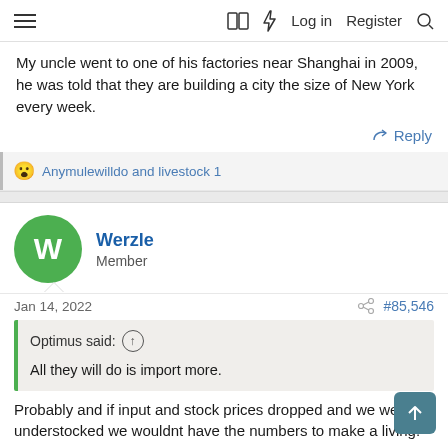≡  🔖 ⚡ Log in   Register  🔍
My uncle went to one of his factories near Shanghai in 2009, he was told that they are building a city the size of New York every week.
↩ Reply
😮 Anymulewilldo and livestock 1
Werzle
Member
Jan 14, 2022	#85,546
Optimus said: ↑

All they will do is import more.
Probably and if input and stock prices dropped and we were all understocked we wouldnt have the numbers to make a living.